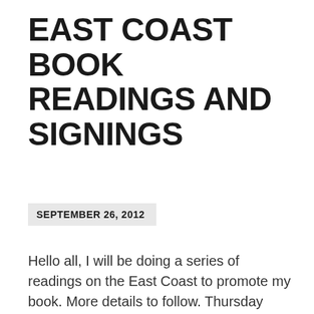EAST COAST BOOK READINGS AND SIGNINGS
SEPTEMBER 26, 2012
Hello all, I will be doing a series of readings on the East Coast to promote my book. More details to follow. Thursday October 18 BOSTON Boston Chinatown Neighborhood Center 38 Ash Street, Boston 6:30 p.m. 38 Ash Street Boston, MA Friday October 19 PHILADELPHIA Temple 5 p.m. Family Style/Asian Arts Initiative 7:30 p.m. $5-$10 sliding scale Asian Arts Initiative 1219 Vine St., Philadelphia, PA Saturday October 20 NEW YORK